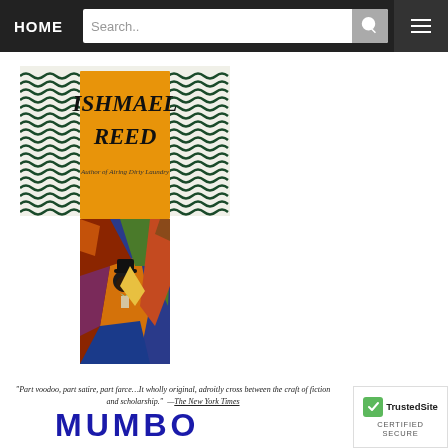HOME | Search... | [search button] | [menu button]
[Figure (illustration): Book cover of Mumbo Jumbo by Ishmael Reed. Top portion shows an orange/yellow rectangle with bold black text 'ISHMAEL REED' and below in smaller text 'Author of Airing Dirty Laundry'. The background features a black-and-white wavy/chevron pattern. Below the header is a colorful cubist-style painting of figures in warm reds, oranges, blues with a man in a bowler hat at center.]
"Part voodoo, part satire, part farce…It wholly original, adroitly cross between the craft of fiction and scholarship." —The New York Times
MUMBO